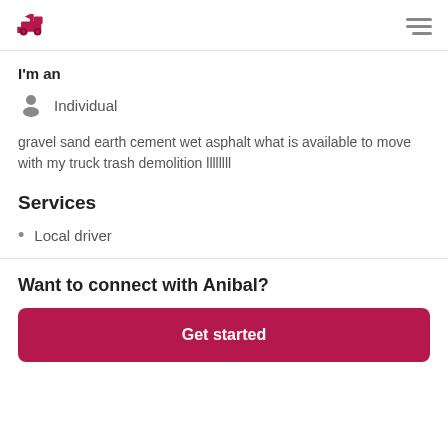Logo and navigation menu
I'm an
Individual
gravel sand earth cement wet asphalt what is available to move with my truck trash demolition llllllll
Services
Local driver
Want to connect with Anibal?
Get started